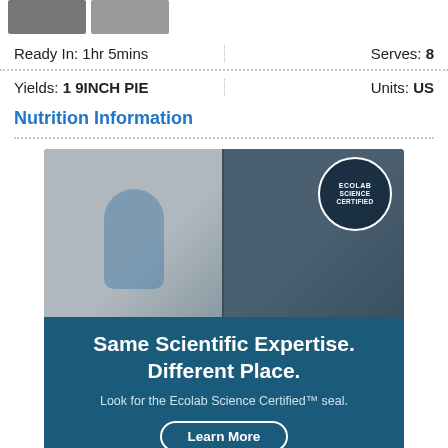[Figure (photo): Two small food thumbnail images at top left]
Ready In: 1hr 5mins
Serves: 8
Yields: 1 9INCH PIE
Units: US
Nutrition Information
[Figure (photo): Ecolab Science Certified advertisement showing a healthcare worker cleaning on left side and a restaurant/cafe scene on right side with Ecolab Science Certified badge. Text reads: Same Scientific Expertise. Different Place. Look for the Ecolab Science Certified™ seal. Learn More button.]